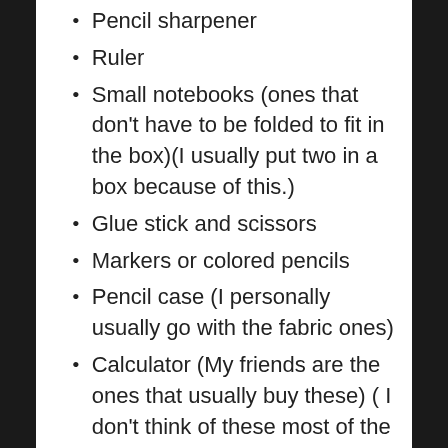Pencil sharpener
Ruler
Small notebooks (ones that don't have to be folded to fit in the box)(I usually put two in a box because of this.)
Glue stick and scissors
Markers or colored pencils
Pencil case (I personally usually go with the fabric ones)
Calculator (My friends are the ones that usually buy these) ( I don't think of these most of the time.)
So that was a list for the 5-14 year olds. But when it comes to the 2-4 year olds I used to just give them paper and crayons. I didn't really think about other things to get them